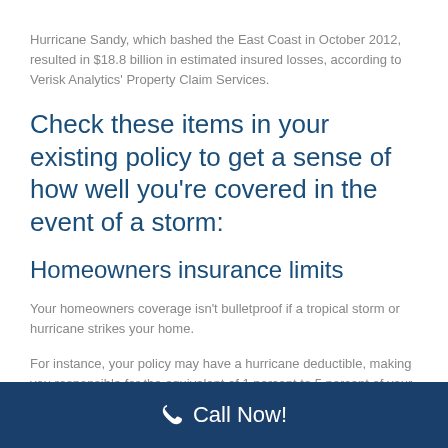Hurricane Sandy, which bashed the East Coast in October 2012, resulted in $18.8 billion in estimated insured losses, according to Verisk Analytics' Property Claim Services.
Check these items in your existing policy to get a sense of how well you're covered in the event of a storm:
Homeowners insurance limits
Your homeowners coverage isn't bulletproof if a tropical storm or hurricane strikes your home.
For instance, your policy may have a hurricane deductible, making you responsible for the equivalent of 1 percent to 5 percent of your home's insured value.
Call Now!